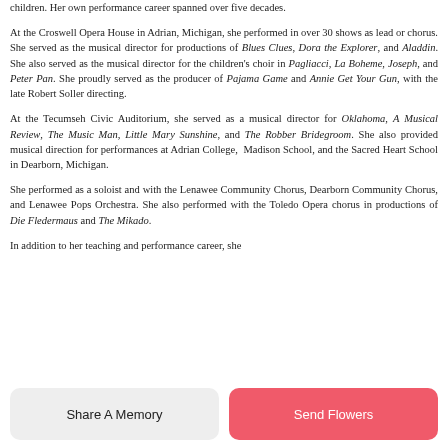children. Her own performance career spanned over five decades.
At the Croswell Opera House in Adrian, Michigan, she performed in over 30 shows as lead or chorus. She served as the musical director for productions of Blues Clues, Dora the Explorer, and Aladdin. She also served as the musical director for the children's choir in Pagliacci, La Boheme, Joseph, and Peter Pan. She proudly served as the producer of Pajama Game and Annie Get Your Gun, with the late Robert Soller directing.
At the Tecumseh Civic Auditorium, she served as a musical director for Oklahoma, A Musical Review, The Music Man, Little Mary Sunshine, and The Robber Bridegroom. She also provided musical direction for performances at Adrian College, Madison School, and the Sacred Heart School in Dearborn, Michigan.
She performed as a soloist and with the Lenawee Community Chorus, Dearborn Community Chorus, and Lenawee Pops Orchestra. She also performed with the Toledo Opera chorus in productions of Die Fledermaus and The Mikado.
In addition to her teaching and performance career, she
Share A Memory
Send Flowers